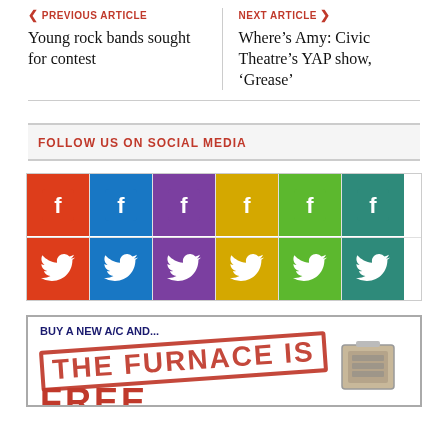PREVIOUS ARTICLE — Young rock bands sought for contest
NEXT ARTICLE — Where's Amy: Civic Theatre's YAP show, 'Grease'
FOLLOW US ON SOCIAL MEDIA
[Figure (infographic): Grid of social media icons: two rows of six colored squares showing Facebook and Twitter logos in red, blue, purple, yellow, green, and teal colors.]
[Figure (infographic): Advertisement: 'BUY A NEW A/C AND... THE FURNACE IS FREE' with stamp-style red text and an image of an HVAC unit.]